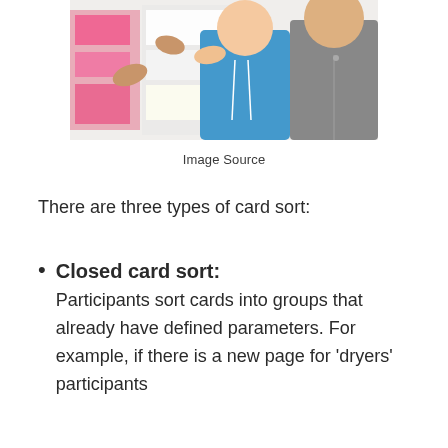[Figure (photo): People sorting colorful cards on a wall, with hands reaching out to arrange pink, blue, and other colored cards. One person is wearing a blue hoodie and another a dark jacket.]
Image Source
There are three types of card sort:
Closed card sort: Participants sort cards into groups that already have defined parameters. For example, if there is a new page for 'dryers' participants